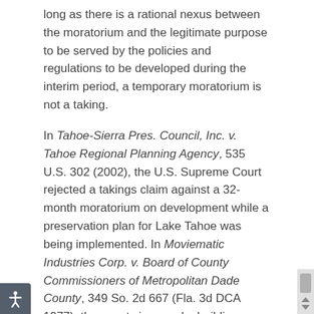long as there is a rational nexus between the moratorium and the legitimate purpose to be served by the policies and regulations to be developed during the interim period, a temporary moratorium is not a taking.
In Tahoe-Sierra Pres. Council, Inc. v. Tahoe Regional Planning Agency, 535 U.S. 302 (2002), the U.S. Supreme Court rejected a takings claim against a 32-month moratorium on development while a preservation plan for Lake Tahoe was being implemented. In Moviematic Industries Corp. v. Board of County Commissioners of Metropolitan Dade County, 349 So. 2d 667 (Fla. 3d DCA 1977), the county imposed a building moratorium for the purpose of conducting and preparing a comprehensive study directed to the protection of the fresh